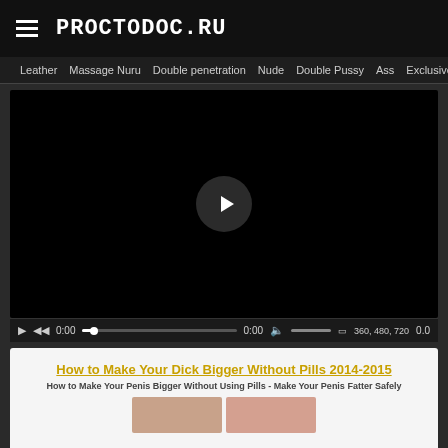PROCTODOC.RU
Leather  Massage Nuru  Double penetration  Nude  Double Pussy  Ass  Exclusive  Pussy
[Figure (screenshot): Video player with black background and play button in center, showing controls: play, rewind, 0:00 timestamp, progress bar, 0:00, mute, volume slider, quality options 360 480 720, and 0.0]
[Figure (screenshot): Advertisement banner with white background. Title: How to Make Your Dick Bigger Without Pills 2014-2015. Subtitle: How to Make Your Penis Bigger Without Using Pills - Make Your Penis Fatter Safely. Image strip at bottom partially visible.]